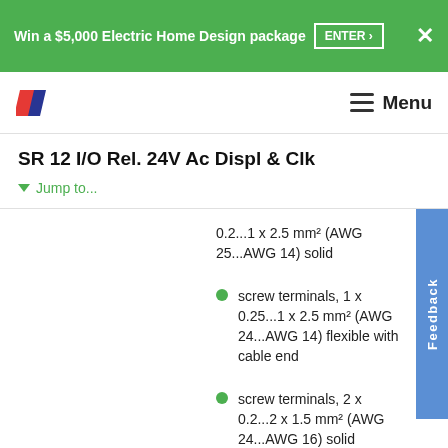Win a $5,000 Electric Home Design package  ENTER ›  ✕
[Figure (logo): Company logo with two diagonal parallelogram shapes in red and dark blue/purple]
≡ Menu
SR 12 I/O Rel. 24V Ac Displ & Clk
▼ Jump to...
0.2...1 x 2.5 mm² (AWG 25...AWG 14) solid
screw terminals, 1 x 0.25...1 x 2.5 mm² (AWG 24...AWG 14) flexible with cable end
screw terminals, 2 x 0.2...2 x 1.5 mm² (AWG 24...AWG 16) solid